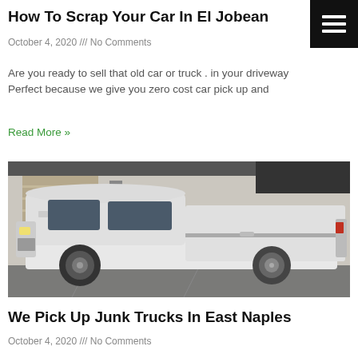How To Scrap Your Car In El Jobean
October 4, 2020 /// No Comments
Are you ready to sell that old car or truck . in your driveway Perfect because we give you zero cost car pick up and
Read More »
[Figure (photo): A white pickup truck (Ford F-150 style) parked in front of a white brick wall with a garage door, viewed from the side.]
We Pick Up Junk Trucks In East Naples
October 4, 2020 /// No Comments